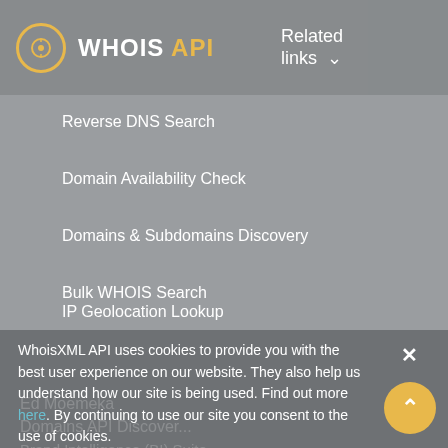WHOIS API — Related links
Reverse DNS Search
Domain Availability Check
Domains & Subdomains Discovery
Bulk WHOIS Search
Bulk Email Verification
IP Geolocation Lookup
WhoisXML API uses cookies to provide you with the best user experience on our website. They also help us understand how our site is being used. Find out more here. By continuing to use our site you consent to the use of cookies.